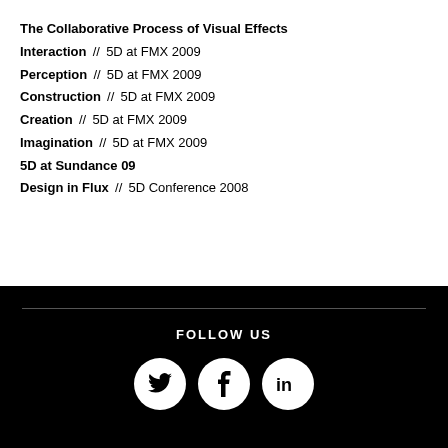The Collaborative Process of Visual Effects
Interaction  //  5D at FMX 2009
Perception  //  5D at FMX 2009
Construction  //  5D at FMX 2009
Creation  //  5D at FMX 2009
Imagination  //  5D at FMX 2009
5D at Sundance 09
Design in Flux  //  5D Conference 2008
FOLLOW US